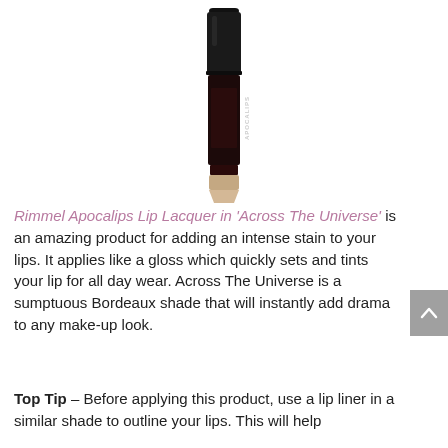[Figure (photo): Rimmel Apocalips Lip Lacquer product — a long black tube with a dark burgundy/wine colored lip gloss applicator tip, upright against white background]
Rimmel Apocalips Lip Lacquer in 'Across The Universe' is an amazing product for adding an intense stain to your lips. It applies like a gloss which quickly sets and tints your lip for all day wear. Across The Universe is a sumptuous Bordeaux shade that will instantly add drama to any make-up look.
Top Tip – Before applying this product, use a lip liner in a similar shade to outline your lips. This will help